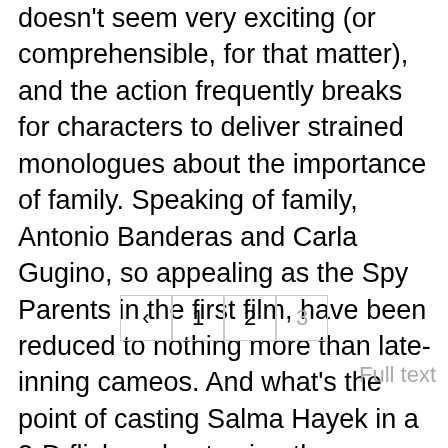doesn't seem very exciting (or comprehensible, for that matter), and the action frequently breaks for characters to deliver strained monologues about the importance of family. Speaking of family, Antonio Banderas and Carla Gugino, so appealing as the Spy Parents in the first film, have been reduced to nothing more than late-inning cameos. And what's the point of casting Salma Hayek in a 3-D flick and not using the technology to showcase her attributes? I mean her lips, of course; what were you thinking? 1/2
‹  1  2  3
Full text